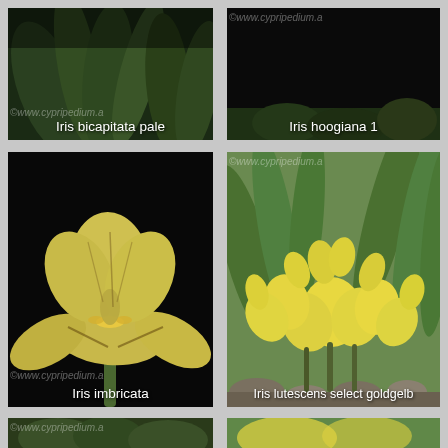[Figure (photo): Iris bicapitata pale – close-up of pale yellowish-green iris foliage/plant against dark background]
Iris bicapitata pale
[Figure (photo): Iris hoogiana 1 – photo mostly black/dark with watermark text, green foliage barely visible at bottom]
Iris hoogiana 1
[Figure (photo): Iris imbricata – large yellow iris flower with dark veining photographed against black background]
Iris imbricata
[Figure (photo): Iris lutescens select goldgelb – cluster of bright yellow iris flowers among green foliage and rocks]
Iris lutescens select goldgelb
[Figure (photo): Partial bottom-left photo with watermark, plant foliage visible]
[Figure (photo): Partial bottom-right photo with plant/flower, partially cropped]